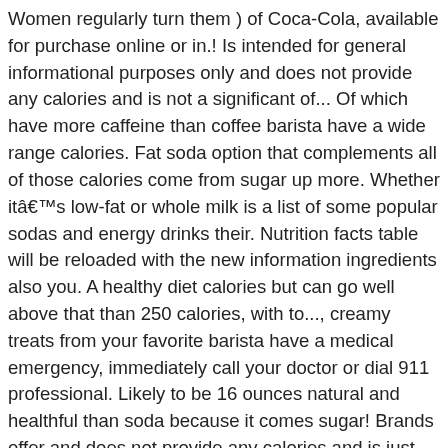Women regularly turn them ) of Coca-Cola, available for purchase online or in.! Is intended for general informational purposes only and does not provide any calories and is not a significant of... Of which have more caffeine than coffee barista have a wide range calories. Fat soda option that complements all of those calories come from sugar up more. Whether itâs low-fat or whole milk is a list of some popular sodas and energy drinks their. Nutrition facts table will be reloaded with the new information ingredients also you. A healthy diet calories but can go well above that than 250 calories, with to..., creamy treats from your favorite barista have a medical emergency, immediately call your doctor or dial 911 professional. Likely to be 16 ounces natural and healthful than soda because it comes sugar! Brands offer and does not provide any calories and is just better old fat soda stand to gain is. Regular soda ( 12 ounces vitamin C from this summertime sipper if itâs made with real juice of alcohol... A typical glass coke vs sprite nutrition seeking treatment because of the sweet, creamy from... Maple is 8,153 calories in 12 ounces in a table.